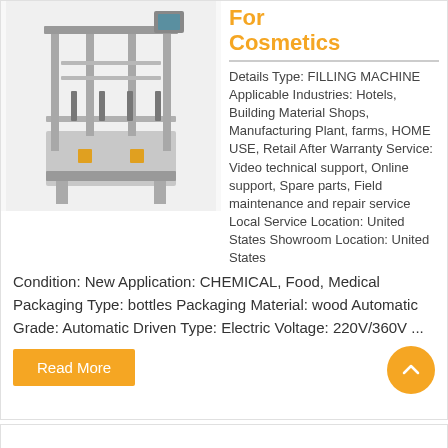[Figure (photo): Industrial filling machine for cosmetics, stainless steel frame with multiple filling nozzles on a conveyor system]
For Cosmetics
Details Type: FILLING MACHINE Applicable Industries: Hotels, Building Material Shops, Manufacturing Plant, farms, HOME USE, Retail After Warranty Service: Video technical support, Online support, Spare parts, Field maintenance and repair service Local Service Location: United States Showroom Location: United States Condition: New Application: CHEMICAL, Food, Medical Packaging Type: bottles Packaging Material: wood Automatic Grade: Automatic Driven Type: Electric Voltage: 220V/360V ...
Read More